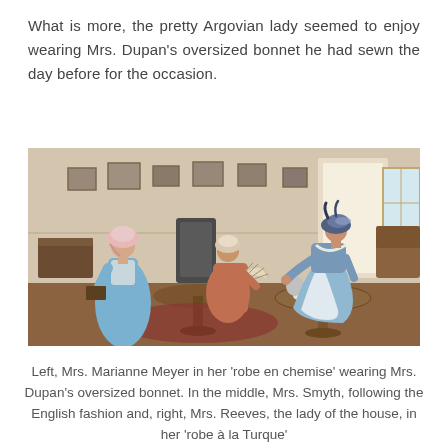What is more, the pretty Argovian lady seemed to enjoy wearing Mrs. Dupan's oversized bonnet he had sewn the day before for the occasion.
[Figure (photo): A historical reenactment scene showing three women in 18th-century dress inside an elegant room. Left, a woman in a blue dress and pink bonnet; center, a seated woman in period dress holding a fan; right, a woman in a blue and white robe pouring from a silver pot at a small round table set with china.]
Left, Mrs. Marianne Meyer in her 'robe en chemise' wearing Mrs. Dupan's oversized bonnet. In the middle, Mrs. Smyth, following the English fashion and, right, Mrs. Reeves, the lady of the house, in her 'robe à la Turque'